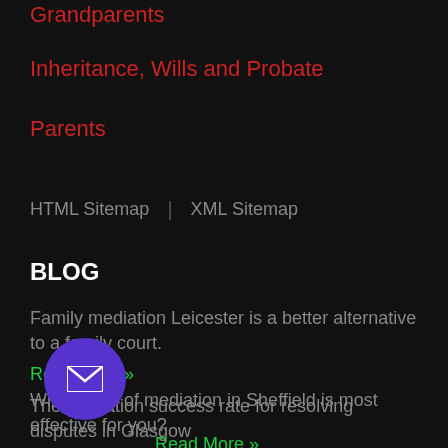Grandparents
Inheritance, Wills and Probate
Parents
HTML Sitemap | XML Sitemap
BLOG
Family mediation Leicester is a better alternative to a family court.
Read More »
The mediation success rate for resolving disputes in Glasgow
Read More »
Which type of mediation in Sheffield is most effective for you?